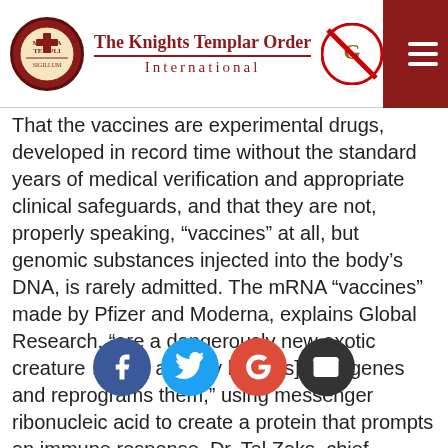The Knights Templar Order International
That the vaccines are experimental drugs, developed in record time without the standard years of medical verification and appropriate clinical safeguards, and that they are not, properly speaking, “vaccines” at all, but genomic substances injected into the body’s DNA, is rarely admitted. The mRNA “vaccines” made by Pfizer and Moderna, explains Global Research, “are a dangerously new exotic creature … that actively hijack[s] your genes and reprograms them,” using messenger ribonucleic acid to create a protein that prompts an immune response. Dr. Tal Zaks, chief medical officer at Moderna Inc., admits that “We are actually hijacking the software of life.”
All such troubling facts are lost in the shuffle of